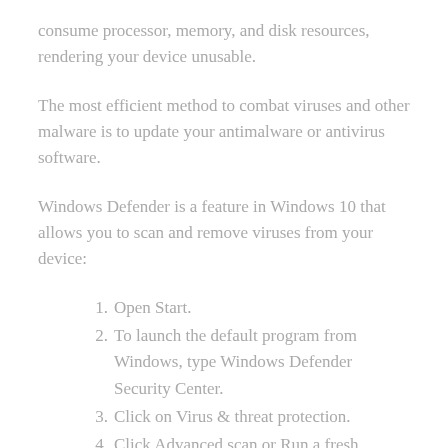consume processor, memory, and disk resources, rendering your device unusable.
The most efficient method to combat viruses and other malware is to update your antimalware or antivirus software.
Windows Defender is a feature in Windows 10 that allows you to scan and remove viruses from your device:
1. Open Start.
2. To launch the default program from Windows, type Windows Defender Security Center.
3. Click on Virus & threat protection.
4. Click Advanced scan or Run a fresh Advanced Scan